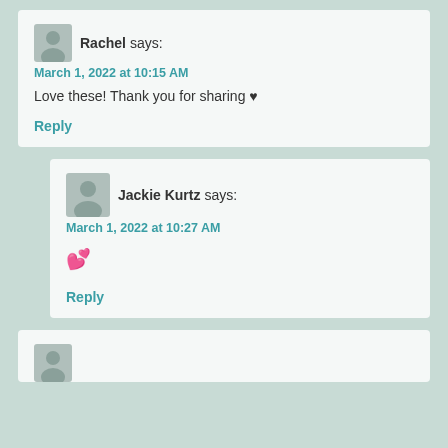Rachel says:
March 1, 2022 at 10:15 AM
Love these! Thank you for sharing ♥
Reply
Jackie Kurtz says:
March 1, 2022 at 10:27 AM
💕
Reply